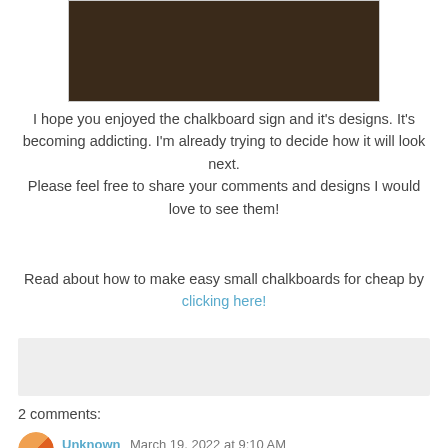[Figure (photo): Top portion of a dark chalkboard sign photo, mostly dark brown/black tones]
I hope you enjoyed the chalkboard sign and it's designs. It's becoming addicting. I'm already trying to decide how it will look next.
Please feel free to share your comments and designs I would love to see them!
Read about how to make easy small chalkboards for cheap by clicking here!
2 comments:
Unknown  March 19, 2022 at 9:10 AM